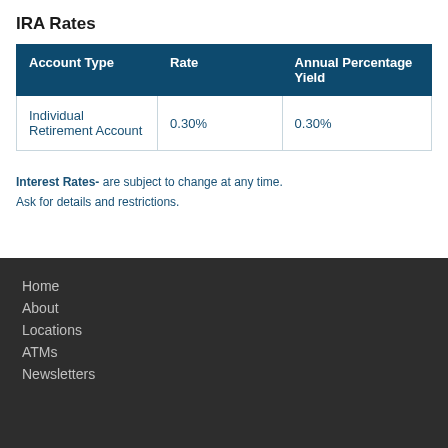IRA Rates
| Account Type | Rate | Annual Percentage Yield |
| --- | --- | --- |
| Individual Retirement Account | 0.30% | 0.30% |
Interest Rates- are subject to change at any time.
Ask for details and restrictions.
Home
About
Locations
ATMs
Newsletters